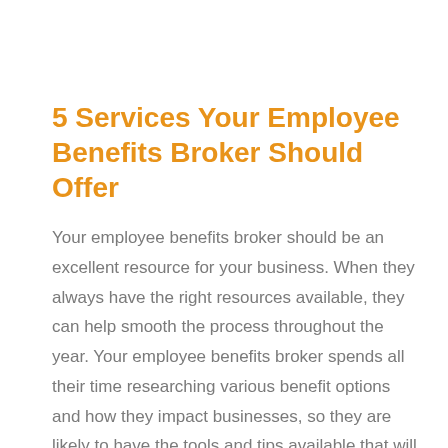5 Services Your Employee Benefits Broker Should Offer
Your employee benefits broker should be an excellent resource for your business. When they always have the right resources available, they can help smooth the process throughout the year. Your employee benefits broker spends all their time researching various benefit options and how they impact businesses, so they are likely to have the tools and tips available that will